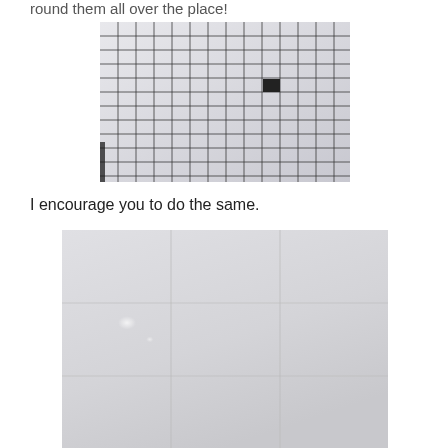round them all over the place!
[Figure (photo): Close-up photo of white/grey grid tile pattern with one dark filled square cell visible near the upper right of center]
I encourage you to do the same.
[Figure (photo): Photo of glossy white/light grey tiles with reflective surface, showing subtle grid lines between tiles]